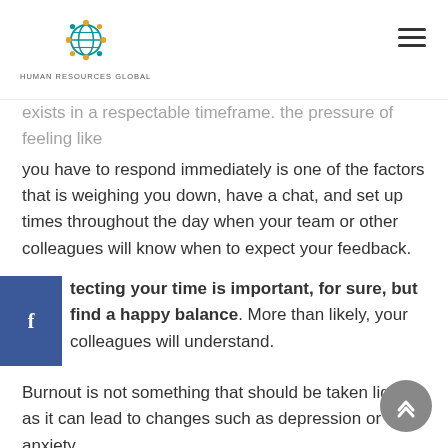HUMAN RESOURCES GLOBAL
exists in a respectable timeframe. the pressure of feeling like you have to respond immediately is one of the factors that is weighing you down, have a chat, and set up times throughout the day when your team or other colleagues will know when to expect your feedback.
Protecting your time is important, for sure, but find a happy balance. More than likely, your colleagues will understand.
Burnout is not something that should be taken lightly, as it can lead to changes such as depression or anxiety.
If you've found yourself run down in general, and you've taken a lot of days off lately without feeling any better afterwards, you owe it to yourself to discuss this with your medical provider or counselor